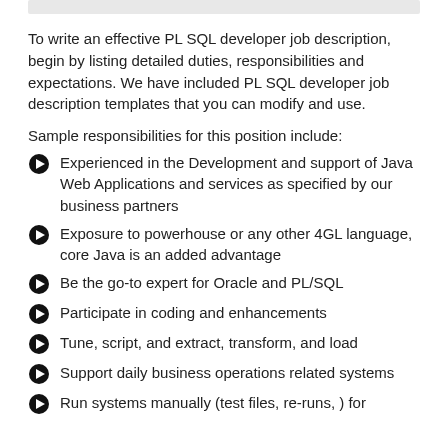To write an effective PL SQL developer job description, begin by listing detailed duties, responsibilities and expectations. We have included PL SQL developer job description templates that you can modify and use.
Sample responsibilities for this position include:
Experienced in the Development and support of Java Web Applications and services as specified by our business partners
Exposure to powerhouse or any other 4GL language, core Java is an added advantage
Be the go-to expert for Oracle and PL/SQL
Participate in coding and enhancements
Tune, script, and extract, transform, and load
Support daily business operations related systems
Run systems manually (test files, re-runs, ) for